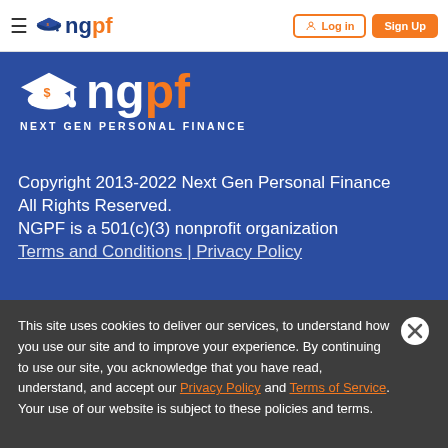ngpf — Log in | Sign Up
[Figure (logo): NGPF logo with graduation cap and text 'ng' in blue, 'pf' in orange, and tagline NEXT GEN PERSONAL FINANCE on blue background]
Copyright 2013-2022 Next Gen Personal Finance All Rights Reserved. NGPF is a 501(c)(3) nonprofit organization Terms and Conditions | Privacy Policy
This site uses cookies to deliver our services, to understand how you use our site and to improve your experience. By continuing to use our site, you acknowledge that you have read, understand, and accept our Privacy Policy and Terms of Service. Your use of our website is subject to these policies and terms.